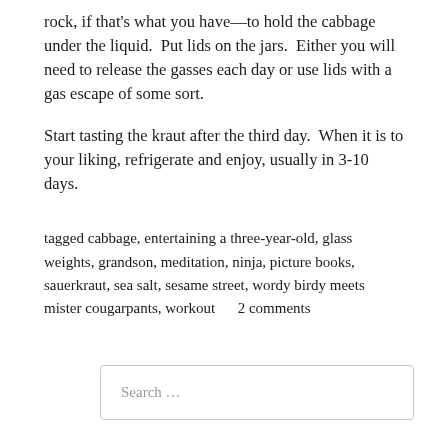rock, if that's what you have—to hold the cabbage under the liquid.  Put lids on the jars.  Either you will need to release the gasses each day or use lids with a gas escape of some sort.
Start tasting the kraut after the third day.  When it is to your liking, refrigerate and enjoy, usually in 3-10 days.
tagged cabbage, entertaining a three-year-old, glass weights, grandson, meditation, ninja, picture books, sauerkraut, sea salt, sesame street, wordy birdy meets mister cougarpants, workout      2 comments
Search …